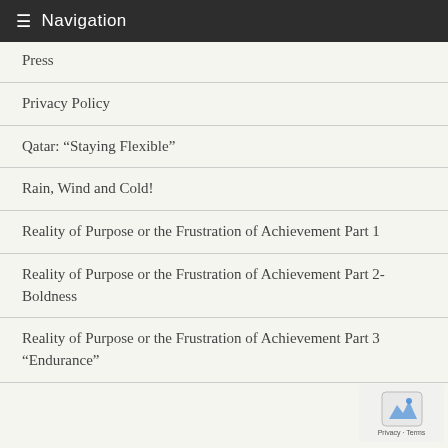Navigation
Press
Privacy Policy
Qatar: “Staying Flexible”
Rain, Wind and Cold!
Reality of Purpose or the Frustration of Achievement Part 1
Reality of Purpose or the Frustration of Achievement Part 2-Boldness
Reality of Purpose or the Frustration of Achievement Part 3 “Endurance”